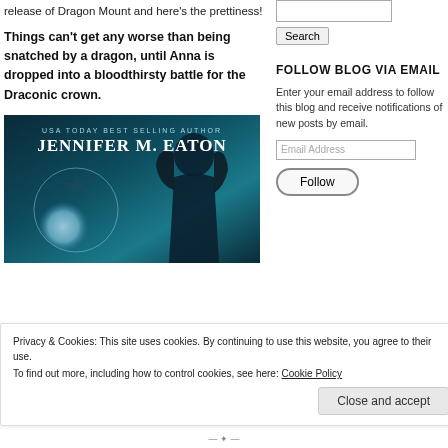release of Dragon Mount and here's the prettiness!
Things can't get any worse than being snatched by a dragon, until Anna is dropped into a bloodthirsty battle for the Draconic crown.
[Figure (illustration): Book cover: USA TODAY BEST SELLING AUTHOR JENNIFER M. EATON — dark teal background with moon and female figure silhouette]
Search
FOLLOW BLOG VIA EMAIL
Enter your email address to follow this blog and receive notifications of new posts by email.
Email Address
Follow
Privacy & Cookies: This site uses cookies. By continuing to use this website, you agree to their use.
To find out more, including how to control cookies, see here: Cookie Policy
Close and accept